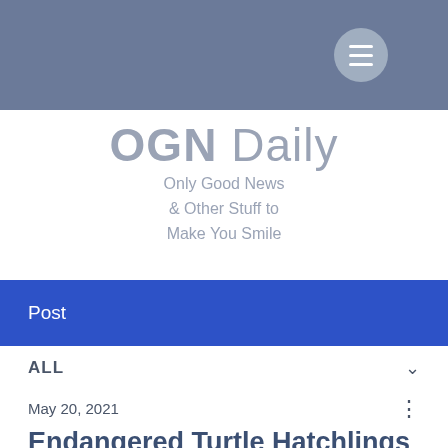[Figure (screenshot): Website header bar with hamburger menu button (three horizontal lines) in a circular button on the right side, set against a slate-blue background.]
OGN Daily
Only Good News & Other Stuff to Make You Smile
Post
ALL
May 20, 2021
Endangered Turtle Hatchlings Released
Remarkably successful intervention